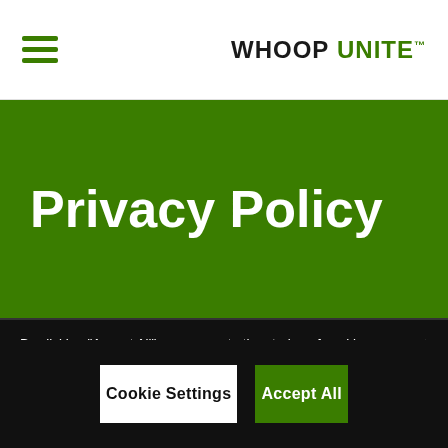WHOOP UNITE
Privacy Policy
By clicking “Accept All”, you agree to the storing of cookies on your device to enhance site navigation, analyze site usage, and assist in our marketing efforts.
Cookie Settings
Accept All